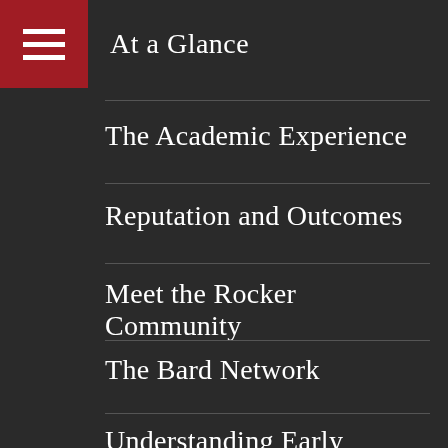At a Glance
The Academic Experience
Reputation and Outcomes
Meet the Rocker Community
The Bard Network
Understanding Early College
Contact Us